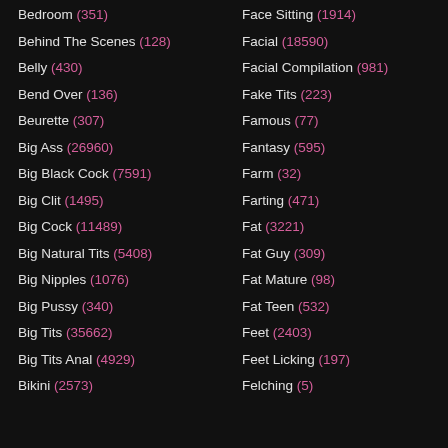Bedroom (351)
Behind The Scenes (128)
Belly (430)
Bend Over (136)
Beurette (307)
Big Ass (26960)
Big Black Cock (7591)
Big Clit (1495)
Big Cock (11489)
Big Natural Tits (5408)
Big Nipples (1076)
Big Pussy (340)
Big Tits (35662)
Big Tits Anal (4929)
Bikini (2573)
Face Sitting (1914)
Facial (18590)
Facial Compilation (981)
Fake Tits (223)
Famous (77)
Fantasy (595)
Farm (32)
Farting (471)
Fat (3221)
Fat Guy (309)
Fat Mature (98)
Fat Teen (532)
Feet (2403)
Feet Licking (197)
Felching (5)